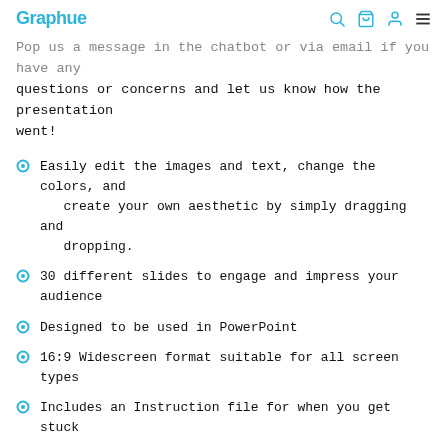Graphue
Pop us a message in the chatbot or via email if you have any questions or concerns and let us know how the presentation went!
Easily edit the images and text, change the colors, and create your own aesthetic by simply dragging and dropping.
30 different slides to engage and impress your audience
Designed to be used in PowerPoint
16:9 Widescreen format suitable for all screen types
Includes an Instruction file for when you get stuck
Contains easy-to-edit graphics and images, graphs, tables, and even maps